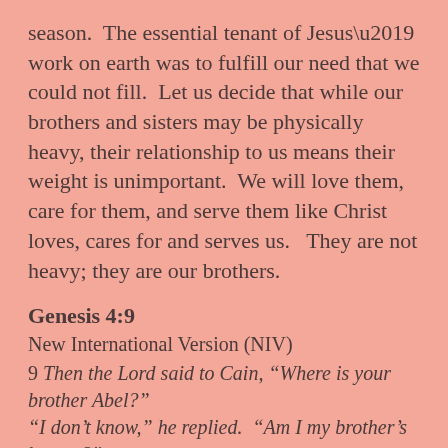season.  The essential tenant of Jesus' work on earth was to fulfill our need that we could not fill.  Let us decide that while our brothers and sisters may be physically heavy, their relationship to us means their weight is unimportant.  We will love them, care for them, and serve them like Christ loves, cares for and serves us.   They are not heavy; they are our brothers.
Genesis 4:9
New International Version (NIV)
9 Then the Lord said to Cain, “Where is your brother Abel?” “I don’t know,” he replied. “Am I my brother’s keeper?”